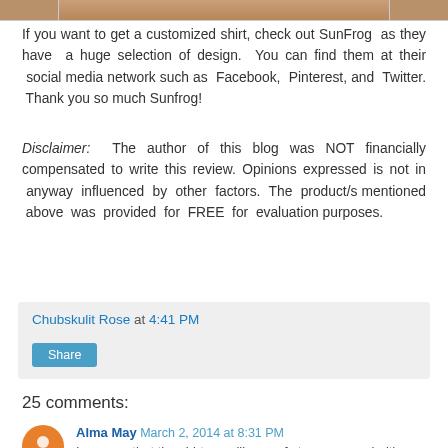[Figure (photo): Partial image at top of page, cropped — appears to show a person wearing a shirt]
If you want to get a customized shirt, check out SunFrog  as they have  a huge selection of design.  You can find them at their  social media network such as  Facebook,  Pinterest,  and  Twitter.  Thank you so much Sunfrog!
Disclaimer:  The author of this blog was NOT financially compensated to write this review. Opinions expressed is not in  anyway  influenced  by  other  factors.  The  product/s mentioned  above  was  provided  for  FREE  for  evaluation purposes.
Chubskulit Rose at 4:41 PM
Share
25 comments:
Alma May  March 2, 2014 at 8:31 PM
I can see that the shirts are like comfy to wear.. yeah, it's